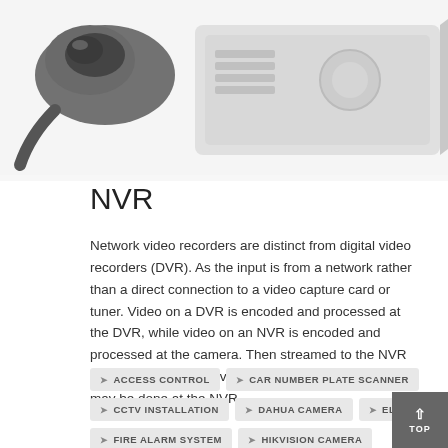[Figure (photo): Partial view of a camera/mouse and NVR/DVR device on a white background]
NVR
Network video recorders are distinct from digital video recorders (DVR). As the input is from a network rather than a direct connection to a video capture card or tuner. Video on a DVR is encoded and processed at the DVR, while video on an NVR is encoded and processed at the camera. Then streamed to the NVR for storage or remote viewing. Additional processing may be done at the NVR.
ACCESS CONTROL
CAR NUMBER PLATE SCANNER
CCTV INSTALLATION
DAHUA CAMERA
ELV
FIRE ALARM SYSTEM
HIKVISION CAMERA